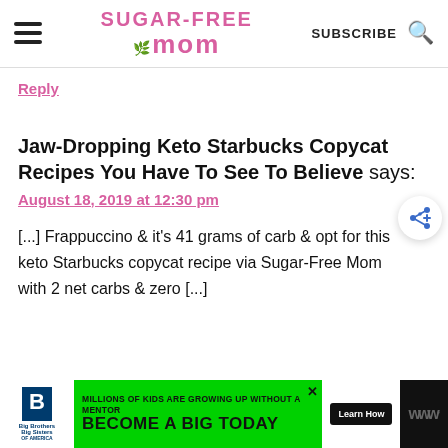Sugar-Free Mom — SUBSCRIBE [search icon]
Reply
Jaw-Dropping Keto Starbucks Copycat Recipes You Have To See To Believe says:
August 18, 2019 at 12:30 pm
[...] Frappuccino & it's 41 grams of carb & opt for this keto Starbucks copycat recipe via Sugar-Free Mom with 2 net carbs & zero [...]
[Figure (other): Big Brothers Big Sisters advertisement banner: 'MILLIONS OF KIDS ARE GROWING UP WITHOUT A MENTOR BECOME A BIG TODAY' with Learn How button]